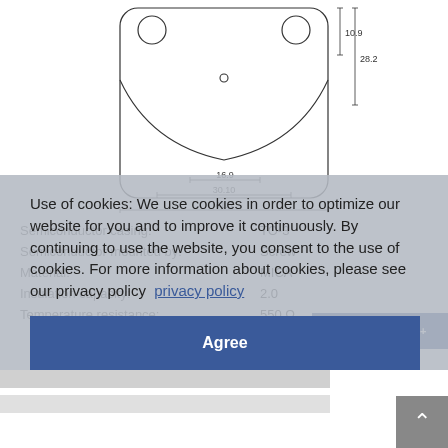[Figure (engineering-diagram): Technical drawing of a TO-3 semiconductor package (top view) showing dimensions: 16.9, 30.10, 41.5 (width), 10.9, 28.2 (height), with mounting holes and curved outline.]
Semiconductor casing:    TO-3
Semiconductor mounted by:    Screw
Material:    MICA
Insulation capacity:    2.0
Temperature resistance:    550 Ω
Use of cookies: We use cookies in order to optimize our website for you and to improve it continuously. By continuing to use the website, you consent to the use of cookies. For more information about cookies, please see our privacy policy  privacy policy
Agree
GL 510
add to watchlist +